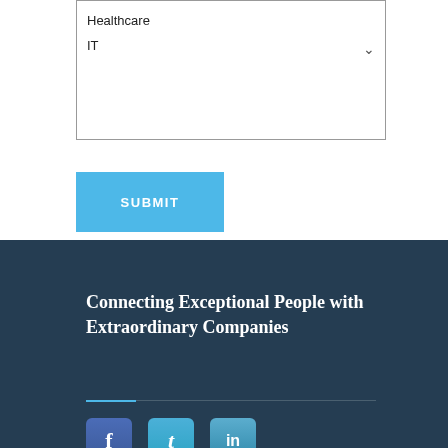Healthcare
IT
SUBMIT
Connecting Exceptional People with Extraordinary Companies
[Figure (infographic): Social media icons: Facebook, Twitter, LinkedIn]